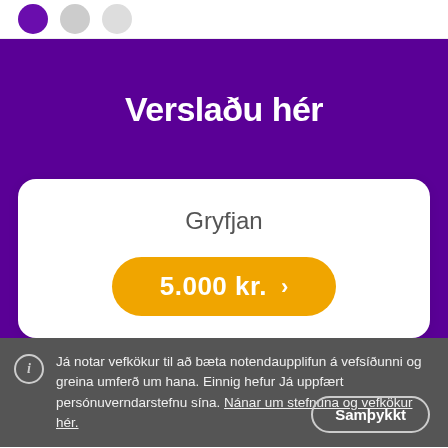[Figure (screenshot): Top navigation bar with purple circle icon and two gray circle icons]
Verslaðu hér
Gryfjan
5.000 kr.  >
Já notar vefkökur til að bæta notendaupplifun á vefsíðunni og greina umferð um hana. Einnig hefur Já uppfært persónuverndarstefnu sína. Nánar um stefnuna og vefkökur hér.
Samþykkt